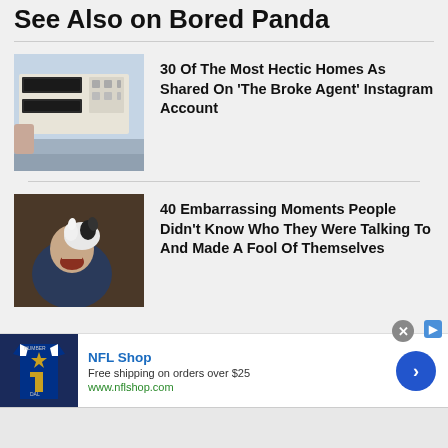See Also on Bored Panda
[Figure (photo): Close-up photo of an old microwave or appliance mounted above a stove]
30 Of The Most Hectic Homes As Shared On 'The Broke Agent' Instagram Account
[Figure (photo): Photo of a man holding a small black and white dog up to his face]
40 Embarrassing Moments People Didn't Know Who They Were Talking To And Made A Fool Of Themselves
[Figure (infographic): NFL Shop advertisement showing a Dallas Cowboys jersey, NFL Shop text, Free shipping on orders over $25, www.nflshop.com, and a blue arrow button]